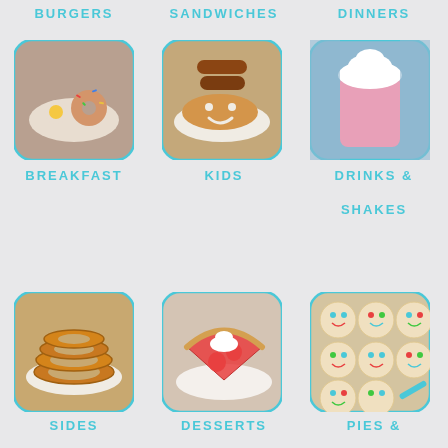BURGERS
SANDWICHES
DINNERS
[Figure (photo): Plate with breakfast food including eggs and a donut with sprinkles]
BREAKFAST
[Figure (photo): Pancake with smiley face and a side of sausages on a plate]
KIDS
[Figure (photo): Pink milkshake or drink with whipped cream on top]
DRINKS & SHAKES
[Figure (photo): Plate of onion rings or fried food]
SIDES
[Figure (photo): Strawberry pie slice on a plate with whipped cream]
DESSERTS
[Figure (photo): Decorated smiley face sugar cookies with colorful icing]
PIES &